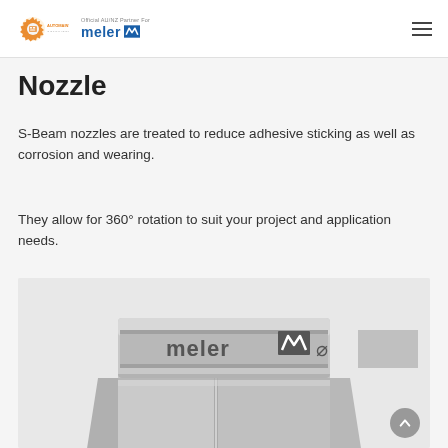Automaint Solutions — Official AU/NZ Partner For meler
Nozzle
S-Beam nozzles are treated to reduce adhesive sticking as well as corrosion and wearing.
They allow for 360° rotation to suit your project and application needs.
[Figure (photo): Close-up photo of a meler branded metallic nozzle component showing hexagonal body with 'meler' text engraved on the top ring]